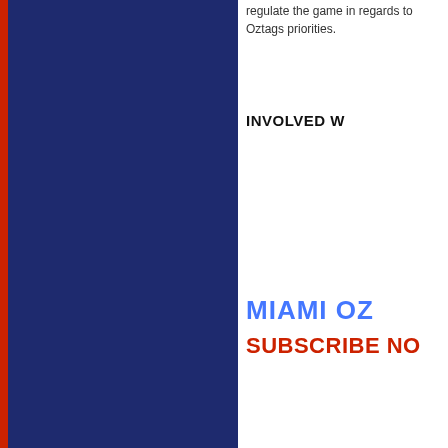[Figure (other): Dark navy blue panel with red vertical stripe on the left side, occupying the left half of the page]
regulate the game in regards to Oztags priorities.
INVOLVED W
MIAMI OZ
SUBSCRIBE NO